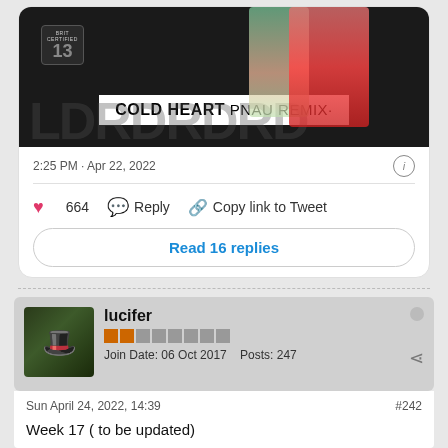[Figure (screenshot): Tweet card showing Cold Heart PNAU Remix album art with BRIT Certified badge on dark background]
2:25 PM · Apr 22, 2022
664  Reply  Copy link to Tweet
Read 16 replies
lucifer
Join Date: 06 Oct 2017    Posts: 247
Sun April 24, 2022, 14:39
#242
Week 17 ( to be updated)